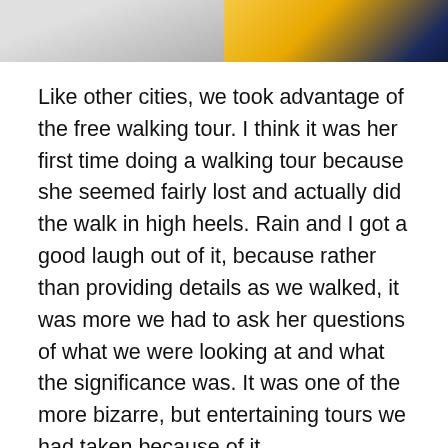[Figure (photo): Two cropped photos side by side at top of page: left photo shows a light grey/white surface, right photo shows yellow fabric or textile with dark blue background]
Like other cities, we took advantage of the free walking tour. I think it was her first time doing a walking tour because she seemed fairly lost and actually did the walk in high heels. Rain and I got a good laugh out of it, because rather than providing details as we walked, it was more we had to ask her questions of what we were looking at and what the significance was. It was one of the more bizarre, but entertaining tours we had taken because of it.
During your time here, I really recommend going to the Old Market. It's predominately indoors and has tables setup everywhere of local goods. It's fun to grab some wine, walk around and shop. As the sun started to go